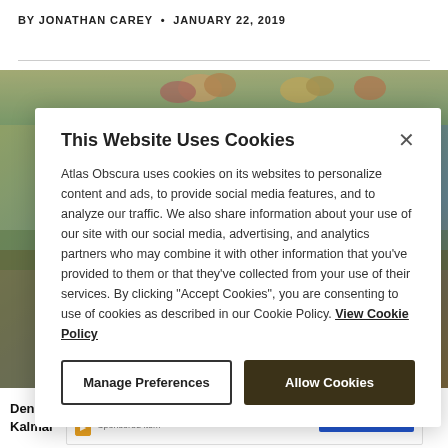BY JONATHAN CAREY  •  JANUARY 22, 2019
[Figure (illustration): Colorful illustrated background image partially visible behind cookie consent modal, showing decorative botanical/butterfly motifs in warm golden and green tones.]
This Website Uses Cookies
Atlas Obscura uses cookies on its websites to personalize content and ads, to provide social media features, and to analyze our traffic. We also share information about your use of our site with our social media, advertising, and analytics partners who may combine it with other information that you've provided to them or that they've collected from your use of their services. By clicking "Accept Cookies", you are consenting to use of cookies as described in our Cookie Policy. View Cookie Policy
Manage Preferences
Allow Cookies
Denmark ... e
Kalmar ...